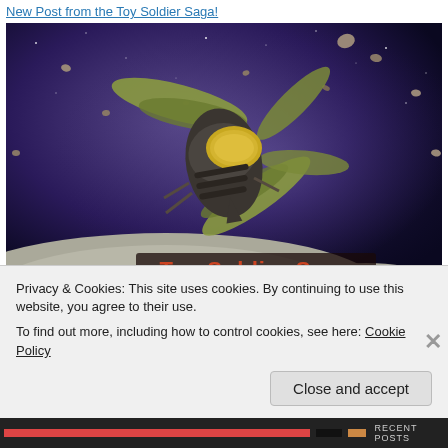New Post from the Toy Soldier Saga!
[Figure (illustration): Digital illustration of a sci-fi insect-like spacecraft flying through an asteroid field in space, with 'Toy Soldier Saga' text overlay. URL watermark: WWW.AARONSOFDALL.COM]
New Post from the Toy Soldier Saga!
[Figure (illustration): Partial view of a second similar digital illustration of the same sci-fi spacecraft in space (partially obscured by cookie banner)]
Privacy & Cookies: This site uses cookies. By continuing to use this website, you agree to their use.
To find out more, including how to control cookies, see here: Cookie Policy